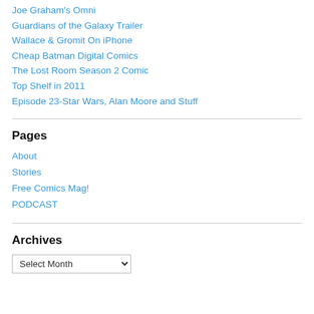Joe Graham's Omni
Guardians of the Galaxy Trailer
Wallace & Gromit On iPhone
Cheap Batman Digital Comics
The Lost Room Season 2 Comic
Top Shelf in 2011
Episode 23-Star Wars, Alan Moore and Stuff
Pages
About
Stories
Free Comics Mag!
PODCAST
Archives